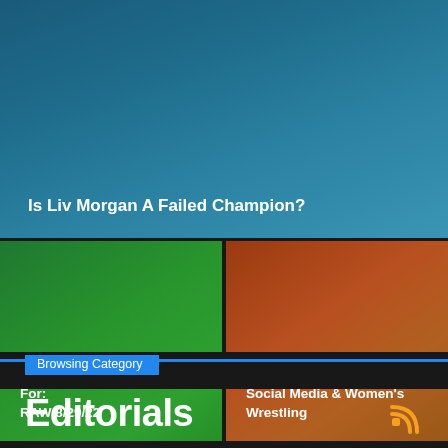[Figure (photo): Blue-teal gradient background image for article 'Is Liv Morgan A Failed Champion?']
Is Liv Morgan A Failed Champion?
[Figure (photo): Green gradient background image for article 'Three Things To Look Out For: RAW 8/29/22']
Three Things To Look Out For: RAW 8/29/22
[Figure (photo): Orange-brown gradient background image for article 'Social Media & Women's Wrestling']
Social Media & Women's Wrestling
Browsing Category
Editorials